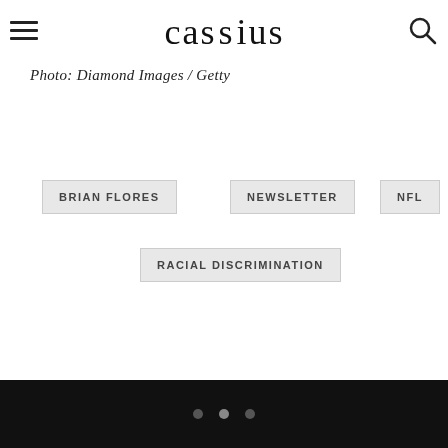cassius
Photo: Diamond Images / Getty
BRIAN FLORES
NEWSLETTER
NFL
RACIAL DISCRIMINATION
• • •